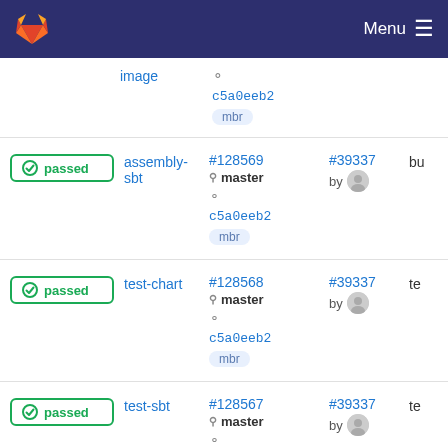GitLab Menu
image | commit c5a0eeb2 | branch mbr
passed | assembly-sbt | #128569 master c5a0eeb2 mbr | #39337 by [avatar] | bu
passed | test-chart | #128568 master c5a0eeb2 mbr | #39337 by [avatar] | te
passed | test-sbt | #128567 master | #39337 by [avatar] | te